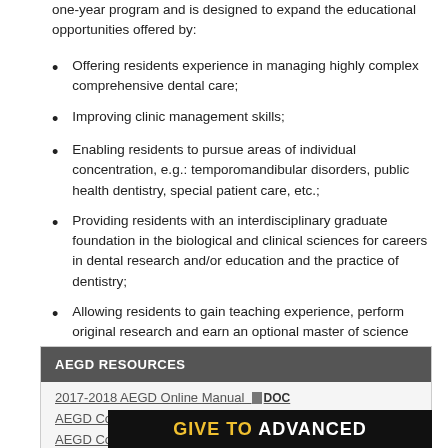one-year program and is designed to expand the educational opportunities offered by:
Offering residents experience in managing highly complex comprehensive dental care;
Improving clinic management skills;
Enabling residents to pursue areas of individual concentration, e.g.: temporomandibular disorders, public health dentistry, special patient care, etc.;
Providing residents with an interdisciplinary graduate foundation in the biological and clinical sciences for careers in dental research and/or education and the practice of dentistry;
Allowing residents to gain teaching experience, perform original research and earn an optional master of science degree if indicated.
AEGD RESOURCES
2017-2018 AEGD Online Manual  DOC
AEGD Competencies YR I  DOCX
AEGD Competencies YR 2  DOCX
[Figure (other): Dark banner with 'GIVE TO ADVANCED' text in yellow and white]